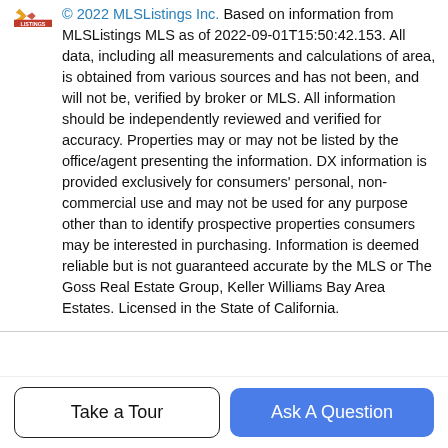© 2022 MLSListings Inc. Based on information from MLSListings MLS as of 2022-09-01T15:50:42.153. All data, including all measurements and calculations of area, is obtained from various sources and has not been, and will not be, verified by broker or MLS. All information should be independently reviewed and verified for accuracy. Properties may or may not be listed by the office/agent presenting the information. DX information is provided exclusively for consumers' personal, non-commercial use and may not be used for any purpose other than to identify prospective properties consumers may be interested in purchasing. Information is deemed reliable but is not guaranteed accurate by the MLS or The Goss Real Estate Group, Keller Williams Bay Area Estates. Licensed in the State of California.
Guides
Sunnyvale
Cupertino